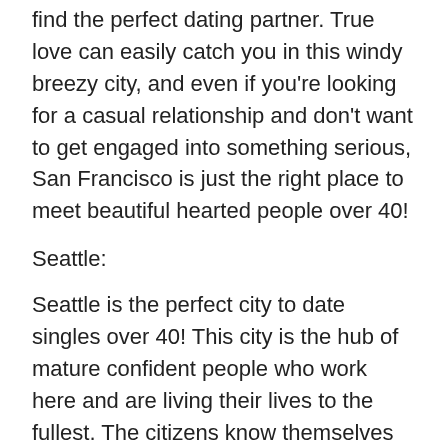find the perfect dating partner. True love can easily catch you in this windy breezy city, and even if you're looking for a casual relationship and don't want to get engaged into something serious, San Francisco is just the right place to meet beautiful hearted people over 40!
Seattle:
Seattle is the perfect city to date singles over 40! This city is the hub of mature confident people who work here and are living their lives to the fullest. The citizens know themselves and know what they want. This is why it is easier to build a relationship with confident people of Seattle. As a plus point, the city has some of the most beautiful landmarks and fascinating picnic spots to hang out with your date and have a perfect time with your date over 40!
Atlanta:
The heart of Georgia, Atlanta is another of the best